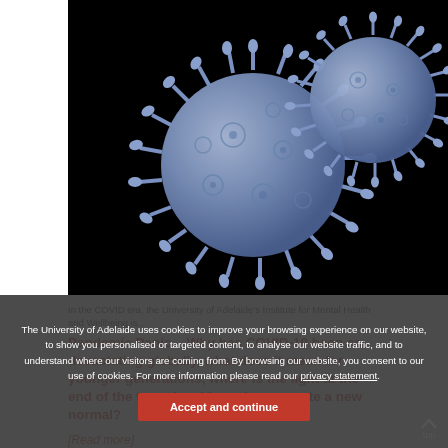[Figure (photo): Close-up illustration of two coronavirus (SARS-CoV-2) particles against a black background, rendered in blue/purple tones showing spike proteins on the viral surface.]
The University of Adelaide is committed to providing healthy study and work environments and to...
Pandemic Panic – Why has COVID-19 been so devastating globally, what does it mean for younger generations, where is the light at the end of the tunnel and how do we create a new normal?
[Read more]
The University of Adelaide uses cookies to improve your browsing experience on our website, to show you personalised or targeted content, to analyse our website traffic, and to understand where our visitors are coming from. By browsing our website, you consent to our use of cookies. For more information please read our privacy statement.